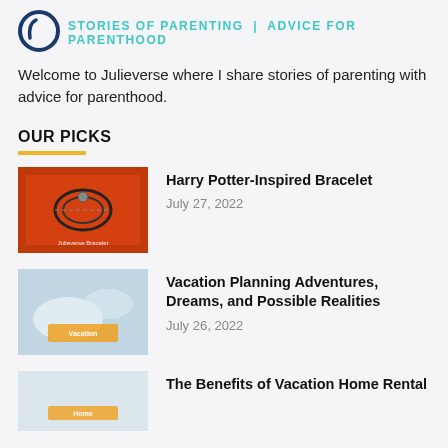STORIES OF PARENTING | ADVICE FOR PARENTHOOD
Welcome to Julieverse where I share stories of parenting with advice for parenthood.
OUR PICKS
Harry Potter-Inspired Bracelet — July 27, 2022
Vacation Planning Adventures, Dreams, and Possible Realities — July 26, 2022
The Benefits of Vacation Home Rental